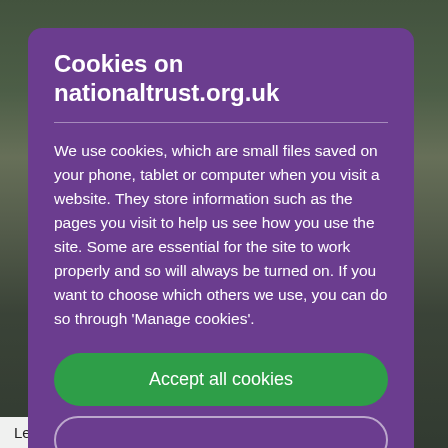[Figure (screenshot): Background photo of green hillside landscape, partially visible behind a cookie consent modal overlay]
Cookies on nationaltrust.org.uk
We use cookies, which are small files saved on your phone, tablet or computer when you visit a website. They store information such as the pages you visit to help us see how you use the site. Some are essential for the site to work properly and so will always be turned on. If you want to choose which others we use, you can do so through 'Manage cookies'.
Accept all cookies
Learn more about Horner Farm, and how our farm